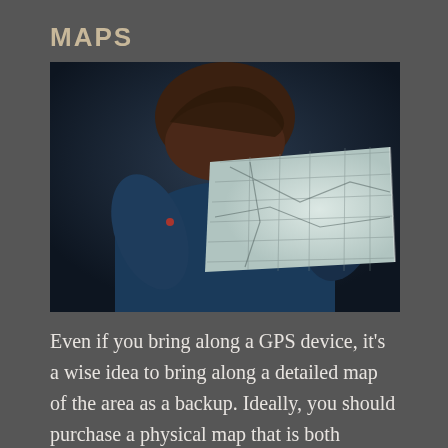MAPS
[Figure (photo): Person seen from behind holding and reading a large folded paper map, wearing a dark blue hoodie, with a blurred dark outdoor background.]
Even if you bring along a GPS device, it's a wise idea to bring along a detailed map of the area as a backup. Ideally, you should purchase a physical map that is both waterproof and tear proof-the last thing